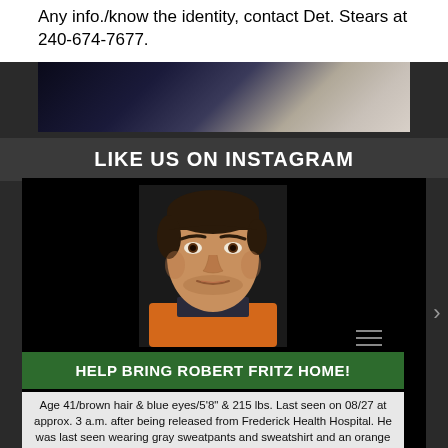Any info./know the identity, contact Det. Stears at 240-674-7677.
[Figure (photo): Security camera footage still image showing interior scene]
LIKE US ON INSTAGRAM
[Figure (photo): Mugshot photo of Robert Fritz, a man with dark hair wearing an orange jumpsuit]
HELP BRING ROBERT FRITZ HOME!
Age 41/brown hair & blue eyes/5'8" & 215 lbs. Last seen on 08/27 at approx. 3 a.m. after being released from Frederick Health Hospital. He was last seen wearing gray sweatpants and sweatshirt and an orange safety vest. He has tattoos of praying hands on his left arm and an eagle